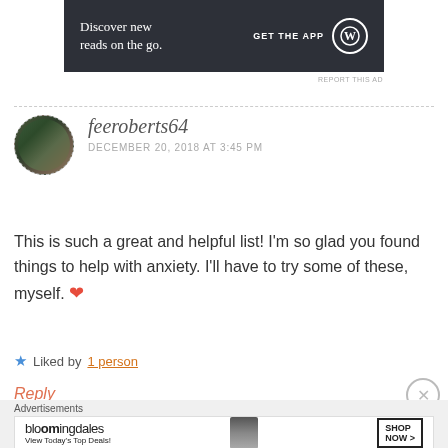[Figure (screenshot): Dark grey advertisement banner: 'Discover new reads on the go. GET THE APP' with WordPress circle logo]
REPORT THIS AD
feeroberts64
DECEMBER 20, 2018 AT 3:45 PM
This is such a great and helpful list! I'm so glad you found things to help with anxiety. I'll have to try some of these, myself. ❤
★ Liked by 1 person
Reply
[Figure (screenshot): Bloomingdales advertisement: 'View Today's Top Deals! SHOP NOW >']